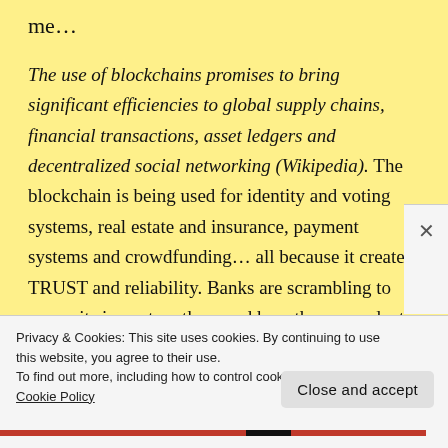me...
The use of blockchains promises to bring significant efficiencies to global supply chains, financial transactions, asset ledgers and decentralized social networking (Wikipedia). The blockchain is being used for identity and voting systems, real estate and insurance, payment systems and crowdfunding… all because it creates TRUST and reliability. Banks are scrambling to assess its impact on them and how they can adapt or they know they will die.
Privacy & Cookies: This site uses cookies. By continuing to use this website, you agree to their use.
To find out more, including how to control cookies, see here: Cookie Policy
Close and accept